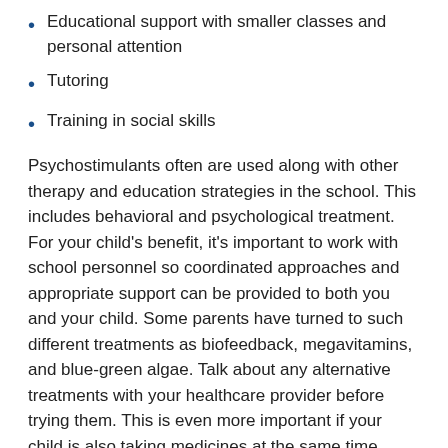Educational support with smaller classes and personal attention
Tutoring
Training in social skills
Psychostimulants often are used along with other therapy and education strategies in the school. This includes behavioral and psychological treatment. For your child's benefit, it's important to work with school personnel so coordinated approaches and appropriate support can be provided to both you and your child. Some parents have turned to such different treatments as biofeedback, megavitamins, and blue-green algae. Talk about any alternative treatments with your healthcare provider before trying them. This is even more important if your child is also taking medicines at the same time.
Whatever the treatment, if your child has ADHD, he or she may have trouble focusing even when they are grown up. Most children outgrow the hyperactivity and impulsiveness of their